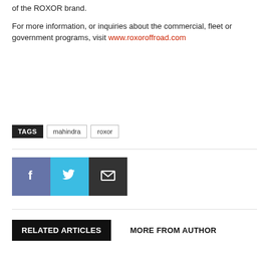of the ROXOR brand.
For more information, or inquiries about the commercial, fleet or government programs, visit www.roxoroffroad.com
TAGS  mahindra  roxor
[Figure (infographic): Three social media share buttons: Facebook (purple-blue), Twitter (cyan), and Email (dark gray) each with white icons]
RELATED ARTICLES   MORE FROM AUTHOR